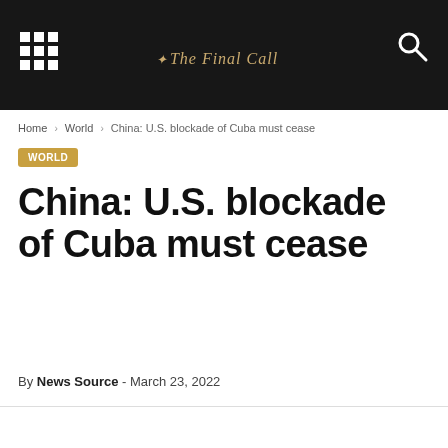The Final Call
Home › World › China: U.S. blockade of Cuba must cease
WORLD
China: U.S. blockade of Cuba must cease
By News Source - March 23, 2022